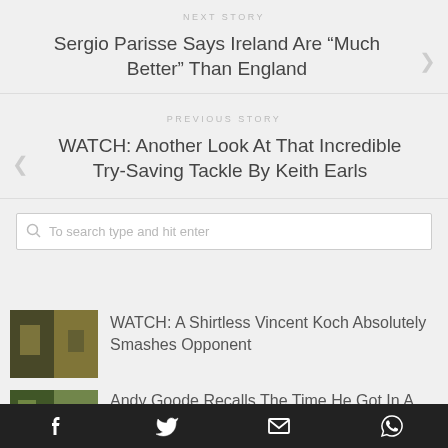NEXT STORY
Sergio Parisse Says Ireland Are “Much Better” Than England
PREVIOUS STORY
WATCH: Another Look At That Incredible Try-Saving Tackle By Keith Earls
To search type and hit enter
[Figure (photo): Thumbnail image of a rugby player, dark and gold tones]
WATCH: A Shirtless Vincent Koch Absolutely Smashes Opponent
[Figure (photo): Thumbnail image of rugby players, green tones]
Andy Goode Recalls The Time He Got In A Scrap With Austin Healey